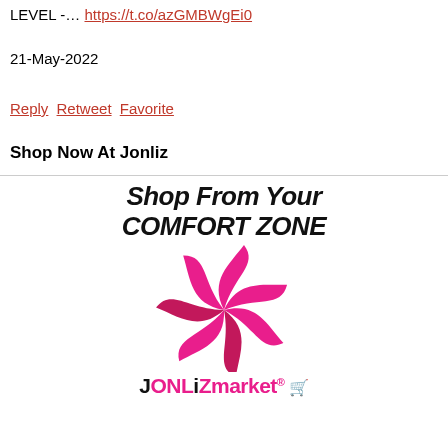LEVEL -… https://t.co/azGMBWgEi0
21-May-2022
Reply Retweet Favorite
Shop Now At Jonliz
[Figure (logo): Jonliz Market logo with tagline 'Shop From Your COMFORT ZONE', a pink swirl/flower logo, and the text 'JONLiZmarket.com' in pink with a shopping cart icon]